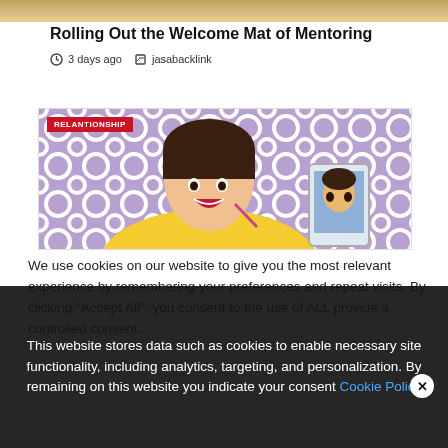Rolling Out the Welcome Mat of Mentoring
3 days ago   jasabacklink
[Figure (photo): Woman in yellow outfit smiling and holding a smartphone showing a young man's photo, in front of a purple patterned background. Red badge reads RELANTIONSHIP.]
We use cookies on our website to give you the most relevant experience by remembering your preferences and repeat visits. By clicking "Accept All", you consent to the use of ALL provide a controlled consent.
This website stores data such as cookies to enable necessary site functionality, including analytics, targeting, and personalization. By remaining on this website you indicate your consent Cookie Policy